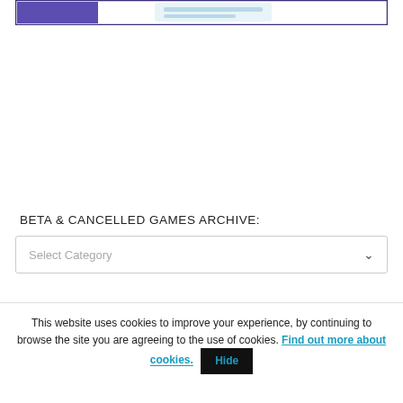[Figure (screenshot): Partial top image strip with purple and light blue/white elements, bordered by dark purple outline]
BETA & CANCELLED GAMES ARCHIVE:
Select Category
This website uses cookies to improve your experience, by continuing to browse the site you are agreeing to the use of cookies. Find out more about cookies. Hide